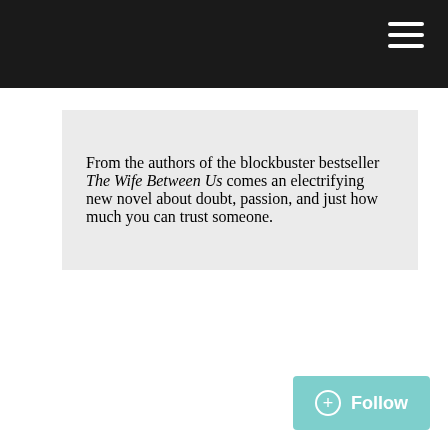From the authors of the blockbuster bestseller The Wife Between Us comes an electrifying new novel about doubt, passion, and just how much you can trust someone.
Follow